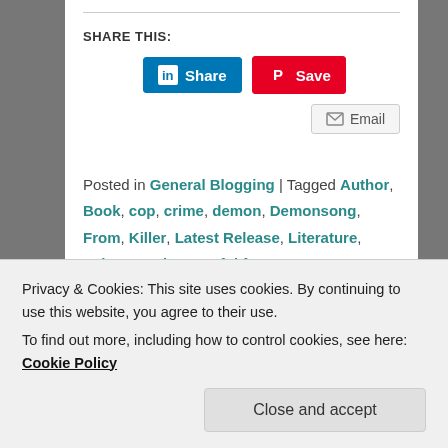SHARE THIS:
[Figure (screenshot): LinkedIn Share button (blue) and Pinterest Save button (red)]
[Figure (screenshot): Email button with envelope icon]
Posted in General Blogging | Tagged Author, Book, cop, crime, demon, Demonsong, From, Killer, Latest Release, Literature, Luke, Novel, powerful force, Romyn, trust, unearthly | Leave a reply
Privacy & Cookies: This site uses cookies. By continuing to use this website, you agree to their use.
To find out more, including how to control cookies, see here: Cookie Policy
Close and accept